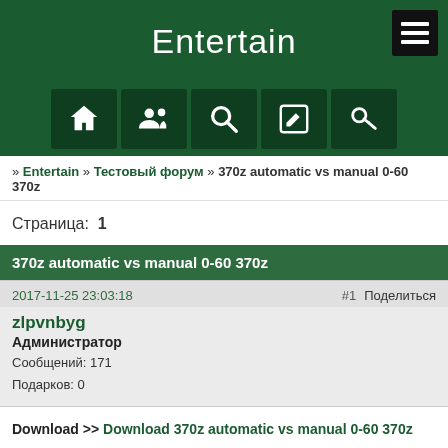Entertain
[Figure (infographic): Navigation bar with home, users, search, edit, and key icons on dark green background]
» Entertain » Тестовый форум » 370z automatic vs manual 0-60 370z
Страница: 1
370z automatic vs manual 0-60 370z
2017-11-25 23:03:18
#1  Поделиться
zlpvnbyg
Администратор
Сообщений: 171
Подарков: 0
Download >> Download 370z automatic vs manual 0-60 370z